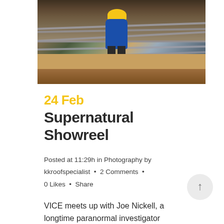[Figure (photo): Construction worker in blue shirt and yellow hard hat bending over steel rebar at a construction site, with concrete forms and metal rods visible]
24 Feb
Supernatural Showreel
Posted at 11:29h in Photography by kkroofspecialist • 2 Comments • 0 Likes • Share
VICE meets up with Joe Nickell, a longtime paranormal investigator